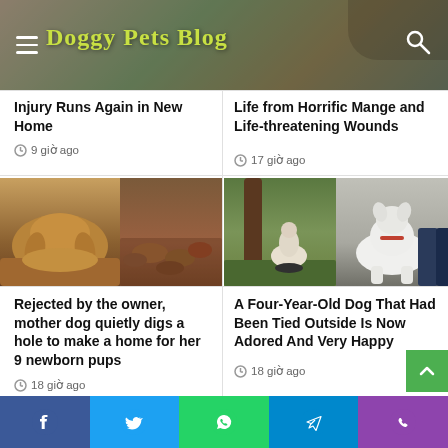Doggy Pets Blog
Injury Runs Again in New Home
9 giờ ago
Life from Horrific Mange and Life-threatening Wounds
17 giờ ago
[Figure (photo): Mother dog with puppies in a hole she dug in red earth]
[Figure (photo): White dog tied outside, then shown happy and free]
Rejected by the owner, mother dog quietly digs a hole to make a home for her 9 newborn pups
18 giờ ago
A Four-Year-Old Dog That Had Been Tied Outside Is Now Adored And Very Happy
18 giờ ago